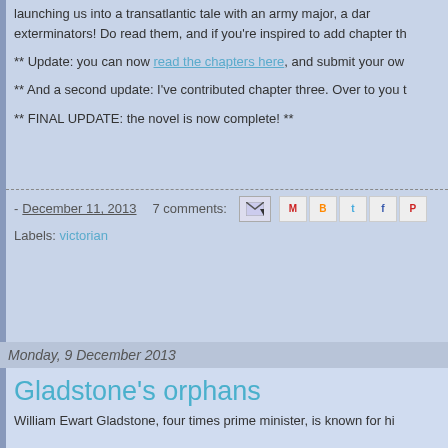launching us into a transatlantic tale with an army major, a dam... exterminators! Do read them, and if you're inspired to add chapter th...
** Update: you can now read the chapters here, and submit your ow...
** And a second update: I've contributed chapter three. Over to you t...
** FINAL UPDATE: the novel is now complete! **
- December 11, 2013   7 comments:
Labels: victorian
Monday, 9 December 2013
Gladstone's orphans
William Ewart Gladstone, four times prime minister, is known for hi...